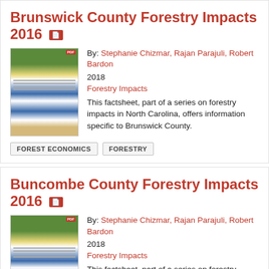Brunswick County Forestry Impacts 2016
By: Stephanie Chizmar, Rajan Parajuli, Robert Bardon
2018
Forestry Impacts
This factsheet, part of a series on forestry impacts in North Carolina, offers information specific to Brunswick County.
FOREST ECONOMICS
FORESTRY
Buncombe County Forestry Impacts 2016
By: Stephanie Chizmar, Rajan Parajuli, Robert Bardon
2018
Forestry Impacts
This factsheet, part of a series on forestry